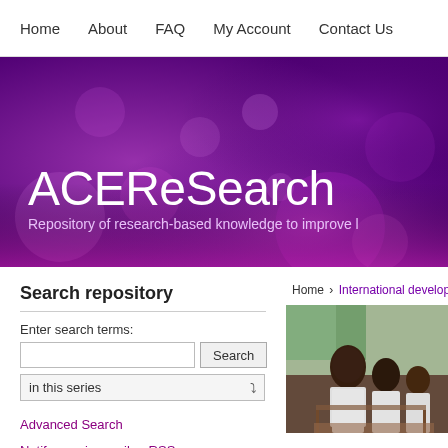Home   About   FAQ   My Account   Contact Us
[Figure (illustration): Purple bokeh hero banner with ACEReSearch title and subtitle text on gradient purple to magenta background]
ACEReSearch
Repository of research-based knowledge to improve l...
Search repository
Enter search terms:
Advanced Search
Notify me via email or RSS
Home > International developmen...
[Figure (photo): Students in a classroom, wearing white shirts, seated at desks, school setting in a developing country]